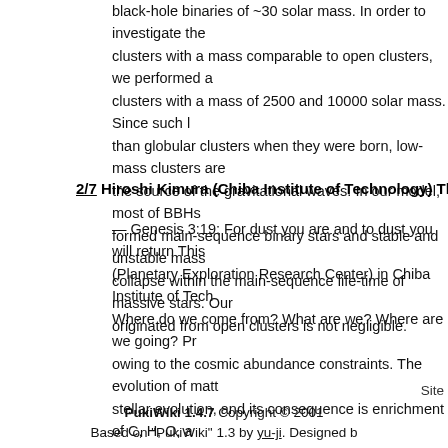black-hole binaries of ~30 solar mass. In order to investigate the clusters with a mass comparable to open clusters, we performed a clusters with a mass of 2500 and 10000 solar mass. Since such l than globular clusters when they were born, low-mass clusters are the source of the gravitational waves. In our model, most of BBHs formed main-sequence binary stars and stable and unstable mass collapse within the main-sequence life-time of massive stars. Our originated from open clusters is not negligible.
2/7 Hiroshi Kimura (Chiba Institute of Technology) The Evolution
— Genesis 3:19: For dust you are and to dust you will return This (Planetary Exploration Research Center) in Chiba Institute of Tech Where do we come from? What are we? Where are we going? Pr owing to the cosmic abundance constraints. The evolution of matt stellar evolution, and its consequence is enrichment of C, H, O, a the major elements to comprise organic matter as well as life on E to seek evidence for a link of organic matter to the origin of life as through a comprehensive study on organic matter in primitive dus in our understanding of the evolution of organic matter in interstell measurements and theoretical modelings.
Site
PukiWiki 1.4.7 Copyright © 2001
Based on "PukiWiki" 1.3 by yu-ji. Designed b